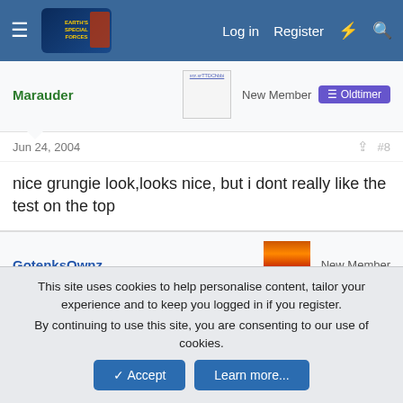Earth's Special Forces forum header with Log in, Register, and search icons
Marauder — New Member — Oldtimer
Jun 24, 2004 #8
nice grungie look,looks nice, but i dont really like the test on the top
GotenksOwnz — New Member
Jun 24, 2004 #9
This site uses cookies to help personalise content, tailor your experience and to keep you logged in if you register. By continuing to use this site, you are consenting to our use of cookies.